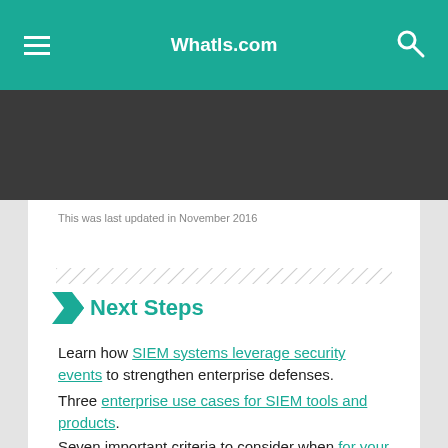WhatIs.com
This was last updated in November 2016
Next Steps
Learn how SIEM systems leverage security events to strengthen enterprise defenses.
Three enterprise use cases for SIEM tools and products.
Seven important criteria to consider when for your